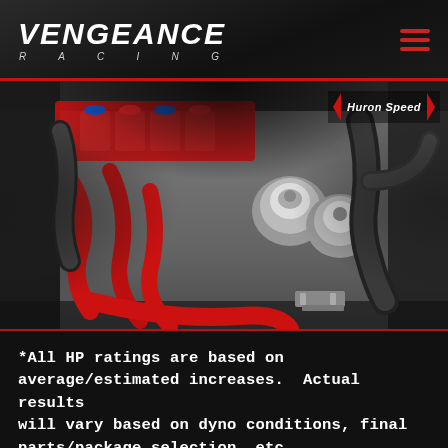[Figure (logo): Vengeance Racing logo with stylized italic white text and 'RACING' subtitle in spaced letters below]
[Figure (photo): Auto parts laid out on a metal surface: red silicone hoses/couplers, silver blow-off valves, black intake/exhaust components, injectors with red/blue caps, and miscellaneous hardware. Huron Speed badge in top right corner.]
*All HP ratings are based on average/estimated increases.  Actual results will vary based on dyno conditions, final parts/package selection, etc.